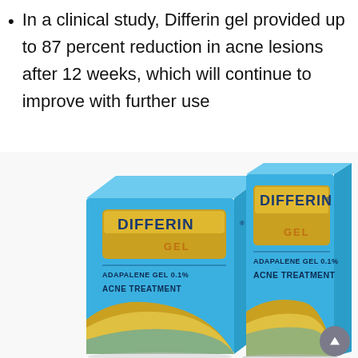In a clinical study, Differin gel provided up to 87 percent reduction in acne lesions after 12 weeks, which will continue to improve with further use
[Figure (photo): Two Differin Gel Adapalene Gel 0.1% Acne Treatment product boxes side by side. Both boxes are light blue with a gold/yellow wave design at the bottom, featuring the Differin brand name in white and gold lettering. The left box is slightly smaller and set back, the right box is taller and in the foreground.]